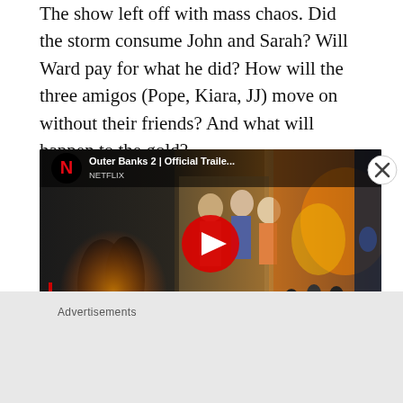The show left off with mass chaos. Did the storm consume John and Sarah? Will Ward pay for what he did? How will the three amigos (Pope, Kiara, JJ) move on without their friends? And what will happen to the gold?
[Figure (screenshot): YouTube thumbnail for 'Outer Banks 2 | Official Traile...' showing Netflix branding, characters, fire scenes, and an OFFICIAL TRAILER text overlay with a red play button]
Advertisements